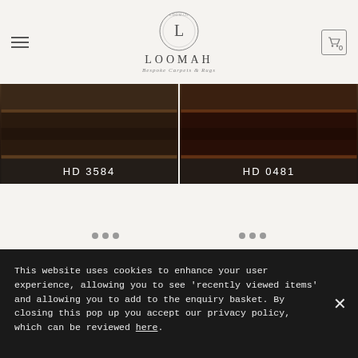[Figure (logo): Loomah Bespoke Carpets & Rugs logo with circular emblem containing the letter L, company name LOOMAH in spaced capitals, tagline in italic]
HD 3584
HD 0481
This website uses cookies to enhance your user experience, allowing you to see 'recently viewed items' and allowing you to add to the enquiry basket. By closing this pop up you accept our privacy policy, which can be reviewed here.